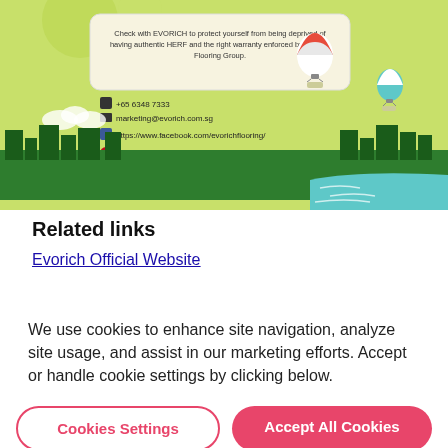[Figure (illustration): Decorative infographic showing a city skyline with green hills, hot air balloons, and a water body. A text box reads: 'Check with EVORICH to protect yourself from being deprived of having authentic HERF and the right warranty enforced by Evorich Flooring Group.' Contact details listed: +65 6348 7333, marketing@evorich.com.sg, Facebook, Pinterest, Instagram links.]
Related links
Evorich Official Website
We use cookies to enhance site navigation, analyze site usage, and assist in our marketing efforts. Accept or handle cookie settings by clicking below.
Cookies Settings | Accept All Cookies